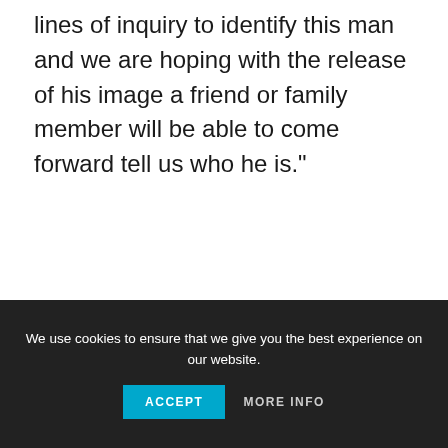lines of inquiry to identify this man and we are hoping with the release of his image a friend or family member will be able to come forward tell us who he is."
We use cookies to ensure that we give you the best experience on our website.
ACCEPT   MORE INFO